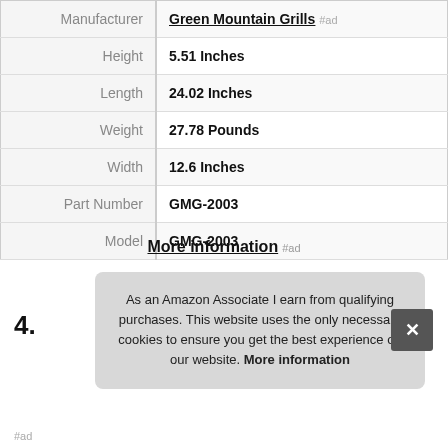| Attribute | Value |
| --- | --- |
| Manufacturer | Green Mountain Grills #ad |
| Height | 5.51 Inches |
| Length | 24.02 Inches |
| Weight | 27.78 Pounds |
| Width | 12.6 Inches |
| Part Number | GMG-2003 |
| Model | GMG-2003 |
More information #ad
4.
As an Amazon Associate I earn from qualifying purchases. This website uses the only necessary cookies to ensure you get the best experience on our website. More information
#ad